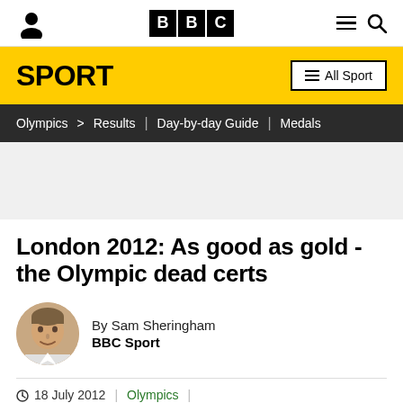BBC Sport — Olympics > Results | Day-by-day Guide | Medals
London 2012: As good as gold - the Olympic dead certs
By Sam Sheringham
BBC Sport
18 July 2012 | Olympics